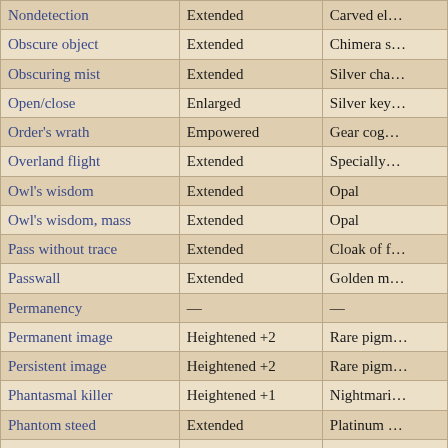| Spell | Metamagic | Focus Component |
| --- | --- | --- |
| Nondetection | Extended | Carved el… |
| Obscure object | Extended | Chimera s… |
| Obscuring mist | Extended | Silver cha… |
| Open/close | Enlarged | Silver key… |
| Order's wrath | Empowered | Gear cog… |
| Overland flight | Extended | Specially… |
| Owl's wisdom | Extended | Opal |
| Owl's wisdom, mass | Extended | Opal |
| Pass without trace | Extended | Cloak of f… |
| Passwall | Extended | Golden m… |
| Permanency | — | — |
| Permanent image | Heightened +2 | Rare pigm… |
| Persistent image | Heightened +2 | Rare pigm… |
| Phantasmal killer | Heightened +1 | Nightmari… |
| Phantom steed | Extended | Platinum … |
| Phantom Trap | — | — |
| Phase door | Silent | Jasper-st… |
| Planar ally | — | — |
| Planar ally, greater | — | — |
| Planar ally, lesser | — | — |
| Planar binding | Heightened +2 | Silver filig… |
| Planar binding, greater | Heightened +2 | Gold filigr… |
| Planar binding, lesser | Heightened +2 | Copper fil… |
| Plane shift | Quickened | Silk mantl… |